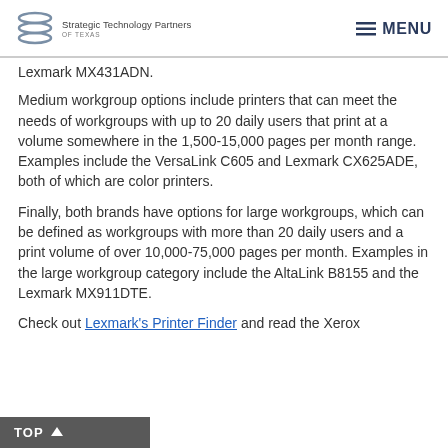Strategic Technology Partners OF TEXAS | MENU
Lexmark MX431ADN.
Medium workgroup options include printers that can meet the needs of workgroups with up to 20 daily users that print at a volume somewhere in the 1,500-15,000 pages per month range. Examples include the VersaLink C605 and Lexmark CX625ADE, both of which are color printers.
Finally, both brands have options for large workgroups, which can be defined as workgroups with more than 20 daily users and a print volume of over 10,000-75,000 pages per month. Examples in the large workgroup category include the AltaLink B8155 and the Lexmark MX911DTE.
Check out Lexmark's Printer Finder and read the Xerox